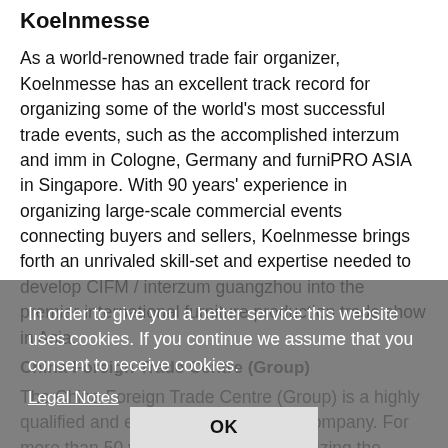Koelnmesse
As a world-renowned trade fair organizer, Koelnmesse has an excellent track record for organizing some of the world's most successful trade events, such as the accomplished interzum and imm in Cologne, Germany and furniPRO ASIA in Singapore. With 90 years' experience in organizing large-scale commercial events connecting buyers and sellers, Koelnmesse brings forth an unrivaled skill-set and expertise needed to develop CIFM / interzum guangzhou into the premier international furniture production trade show in Asia.
China Foreign Trade Centre (Group)
The China Foreign Trade Centre (Group) is a highly qualified and experienced exhibition company. For more than 50 years, it has been organizing the China Import and Export Fair (also known as the Canton Fair), the largest
In order to give you a better service this website uses cookies. If you continue we assume that you consent to receive cookies.
Legal Notes
OK